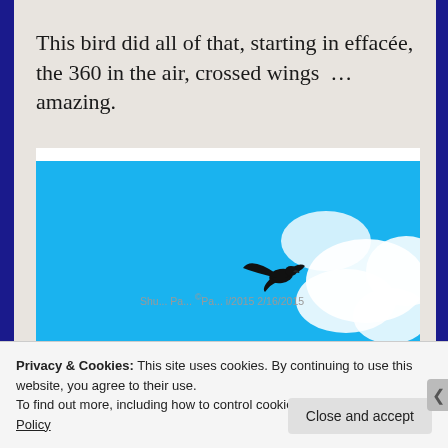This bird did all of that, starting in effacée, the 360 in the air, crossed wings  … amazing.
[Figure (photo): A bird in silhouette flying against a bright blue sky with white clouds]
Privacy & Cookies: This site uses cookies. By continuing to use this website, you agree to their use.
To find out more, including how to control cookies, see here: Cookie Policy
Close and accept